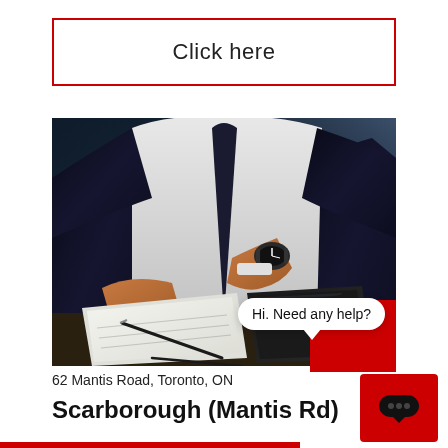Click here
[Figure (photo): A person in a dark business suit checking their wristwatch, with a pen, notepad/papers, and a laptop on the desk in front of them.]
Hi. Need any help?
62 Mantis Road, Toronto, ON
Scarborough (Mantis Rd)